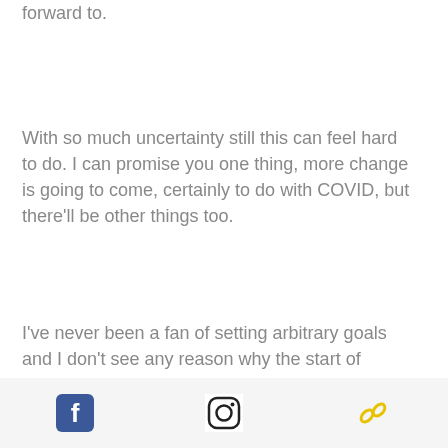forward to.
With so much uncertainty still this can feel hard to do. I can promise you one thing, more change is going to come, certainly to do with COVID, but there'll be other things too.
I've never been a fan of setting arbitrary goals and I don't see any reason why the start of another new year should be any different. I've mentioned New Year's resolutions before (here) and in times of such uncertainty, it's crazy to think that we
Social media icons: Facebook, Instagram, Link